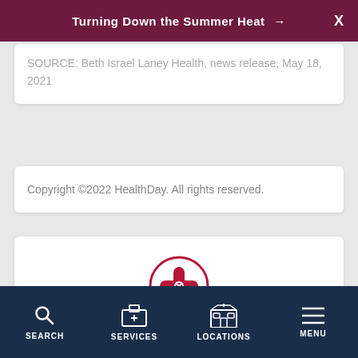Turning Down the Summer Heat →  X
SOURCE: Beth Israel Laney Health, news release, May 18, 2021
Copyright ©2022 HealthDay. All rights reserved.
[Figure (illustration): Find a Doctor icon: a bandage/cross symbol inside a circle, in dark red/maroon color]
Find a Doctor
SEARCH   SERVICES   LOCATIONS   MENU